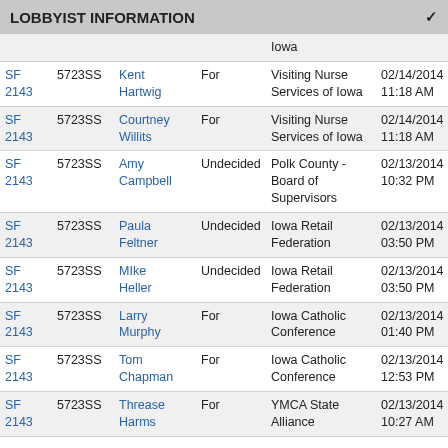LOBBYIST INFORMATION
|  |  |  |  |  |  |  |
| --- | --- | --- | --- | --- | --- | --- |
|  |  |  |  | Iowa |  |  |
| SF 2143 | 5723SS | Kent Hartwig | For | Visiting Nurse Services of Iowa | 02/14/2014 11:18 AM |  |
| SF 2143 | 5723SS | Courtney Willits | For | Visiting Nurse Services of Iowa | 02/14/2014 11:18 AM |  |
| SF 2143 | 5723SS | Amy Campbell | Undecided | Polk County - Board of Supervisors | 02/13/2014 10:32 PM |  |
| SF 2143 | 5723SS | Paula Feltner | Undecided | Iowa Retail Federation | 02/13/2014 03:50 PM |  |
| SF 2143 | 5723SS | MIke Heller | Undecided | Iowa Retail Federation | 02/13/2014 03:50 PM |  |
| SF 2143 | 5723SS | Larry Murphy | For | Iowa Catholic Conference | 02/13/2014 01:40 PM |  |
| SF 2143 | 5723SS | Tom Chapman | For | Iowa Catholic Conference | 02/13/2014 12:53 PM |  |
| SF 2143 | 5723SS | Threase Harms | For | YMCA State Alliance | 02/13/2014 10:27 AM |  |